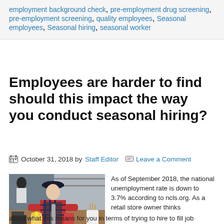employment background check, pre-employment drug screening, pre-employment screening, quality employees, Seasonal employees, Seasonal hiring, seasonal worker
Employees are harder to find should this impact the way you conduct seasonal hiring?
October 31, 2018 by Staff Editor  Leave a Comment
[Figure (photo): A young worker in a cap and flannel shirt working behind a bar or café counter, preparing drinks with various items on the counter including cups and a cocktail shaker.]
As of September 2018, the national unemployment rate is down to 3.7% according to ncls.org. As a retail store owner thinks about what this means for you in terms of trying to hire to fill job